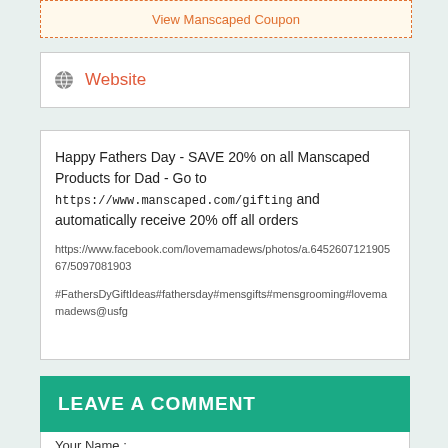View Manscaped Coupon
Website
Happy Fathers Day - SAVE 20% on all Manscaped Products for Dad - Go to https://www.manscaped.com/gifting and automatically receive 20% off all orders
https://www.facebook.com/lovemamadews/photos/a.645260712190567/5097081903...
#FathersDyGiftIdeas#fathersday#mensgifts#mensgrooming#lovemamadews@usfg...
LEAVE A COMMENT
Your Name :